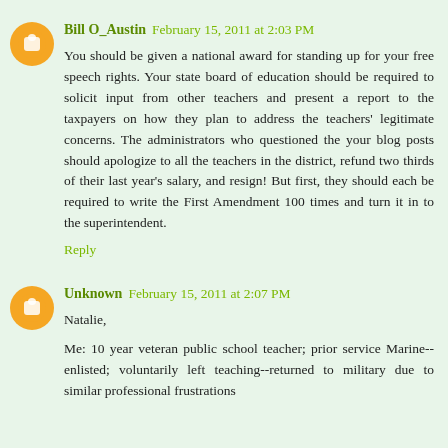Bill O_Austin  February 15, 2011 at 2:03 PM
You should be given a national award for standing up for your free speech rights. Your state board of education should be required to solicit input from other teachers and present a report to the taxpayers on how they plan to address the teachers' legitimate concerns. The administrators who questioned the your blog posts should apologize to all the teachers in the district, refund two thirds of their last year's salary, and resign! But first, they should each be required to write the First Amendment 100 times and turn it in to the superintendent.
Reply
Unknown  February 15, 2011 at 2:07 PM
Natalie,
Me: 10 year veteran public school teacher; prior service Marine--enlisted; voluntarily left teaching--returned to military due to similar professional frustrations